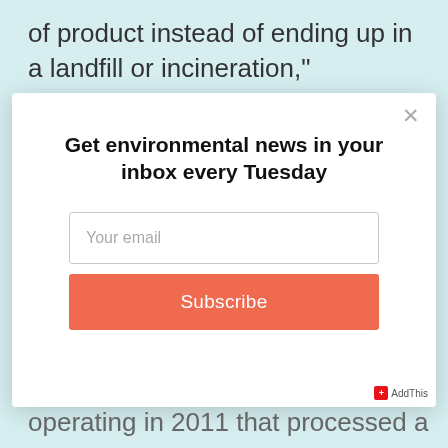of product instead of ending up in a landfill or incineration," Campanella said.
[Figure (screenshot): Modal popup with newsletter subscription form: title 'Get environmental news in your inbox every Tuesday', an email input field with placeholder 'Your email', and an orange 'Subscribe' button. A close (X) button is in the top right corner.]
operating in 2011 that processed a